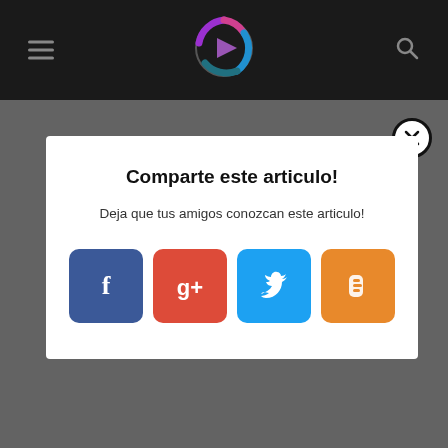[Figure (logo): Dark top navigation bar with hamburger menu on left, colorful circular logo in center, and search icon on right]
[Figure (screenshot): Social share modal dialog with title 'Comparte este articulo!', subtitle text, and four social media buttons: Facebook (blue), Google+ (red), Twitter (light blue), Blogger (orange), with an X close button in top-right corner]
Comparte este articulo!
Deja que tus amigos conozcan este articulo!